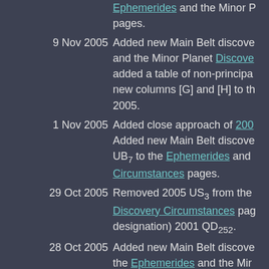(continuation) Ephemerides and the Minor Planet pages.
9 Nov 2005 Added new Main Belt discoveries and the Minor Planet Discovery Circumstances; added a table of non-principal; new columns [G] and [H] to the 2005.
1 Nov 2005 Added close approach of 200... Added new Main Belt discoveries UB7 to the Ephemerides and Circumstances pages.
29 Oct 2005 Removed 2005 US3 from the Discovery Circumstances pages. designation) 2001 QD252.
28 Oct 2005 Added new Main Belt discoveries to the Ephemerides and the Minor Planet pages.
21 Oct 2005 Added Planetary Satellites and Gallery. Updated uncertainty
11 Oct 2005 Added new Main Belt discoveries 2005 TW49 to the Ephemerides and Circumstances pages.